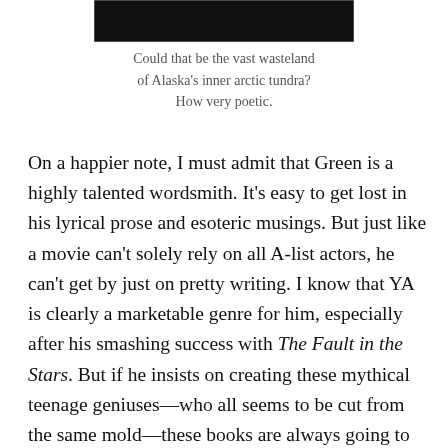[Figure (photo): A dark/black rectangular image at the top center of the page, possibly showing a landscape (Alaska's arctic tundra).]
Could that be the vast wasteland of Alaska's inner arctic tundra? How very poetic.
On a happier note, I must admit that Green is a highly talented wordsmith. It's easy to get lost in his lyrical prose and esoteric musings. But just like a movie can't solely rely on all A-list actors, he can't get by just on pretty writing. I know that YA is clearly a marketable genre for him, especially after his smashing success with The Fault in the Stars. But if he insists on creating these mythical teenage geniuses—who all seems to be cut from the same mold—these books are always going to miss the mark.